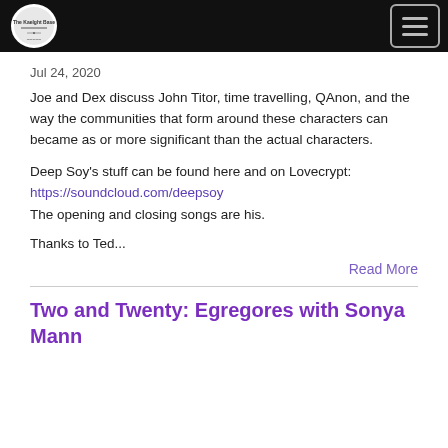The Kaedpol Base [logo] [hamburger menu]
Jul 24, 2020
Joe and Dex discuss John Titor, time travelling, QAnon, and the way the communities that form around these characters can became as or more significant than the actual characters.
Deep Soy's stuff can be found here and on Lovecrypt:
https://soundcloud.com/deepsoy
The opening and closing songs are his.
Thanks to Ted...
Read More
Two and Twenty: Egregores with Sonya Mann